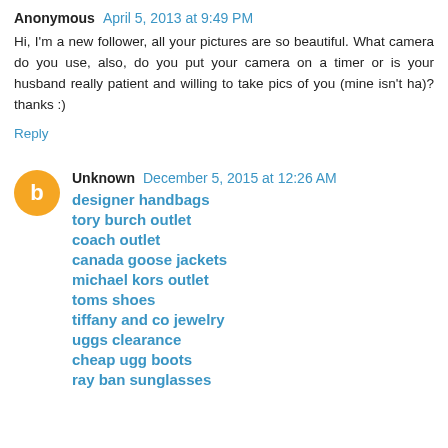Anonymous April 5, 2013 at 9:49 PM
Hi, I'm a new follower, all your pictures are so beautiful. What camera do you use, also, do you put your camera on a timer or is your husband really patient and willing to take pics of you (mine isn't ha)? thanks :)
Reply
Unknown December 5, 2015 at 12:26 AM
designer handbags
tory burch outlet
coach outlet
canada goose jackets
michael kors outlet
toms shoes
tiffany and co jewelry
uggs clearance
cheap ugg boots
ray ban sunglasses